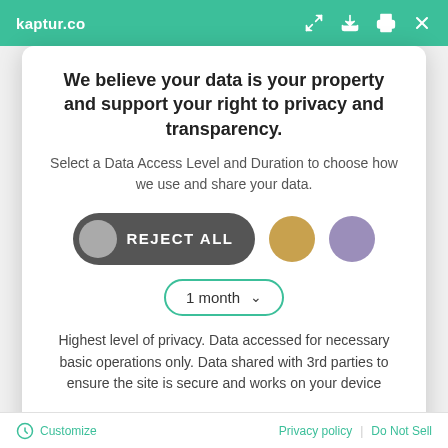kaptur.co
We believe your data is your property and support your right to privacy and transparency.
Select a Data Access Level and Duration to choose how we use and share your data.
REJECT ALL
1 month
Highest level of privacy. Data accessed for necessary basic operations only. Data shared with 3rd parties to ensure the site is secure and works on your device
Save my preferences
Customize   Privacy policy | Do Not Sell